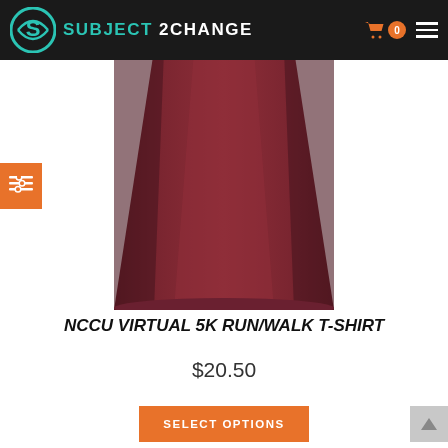[Figure (logo): Subject 2 Change website header logo with teal bird/S logo mark and brand name text]
[Figure (photo): Dark maroon/burgundy athletic t-shirt product photo, cropped showing the lower body of the shirt]
NCCU VIRTUAL 5K RUN/WALK T-SHIRT
$20.50
SELECT OPTIONS